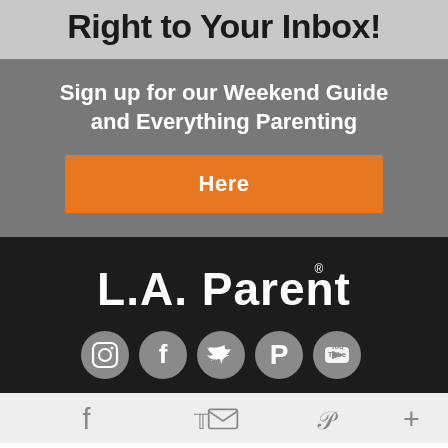Right to Your Inbox!
Sign up for our Weekend Guide and Everything Parenting
Here
[Figure (logo): L.A. Parent logo in white text on dark background]
[Figure (infographic): Social media icons row: Instagram, Facebook, Twitter, Pinterest, YouTube]
[Figure (infographic): Footer navigation icons: Facebook, Twitter, email/share, Pinterest, more (+)]